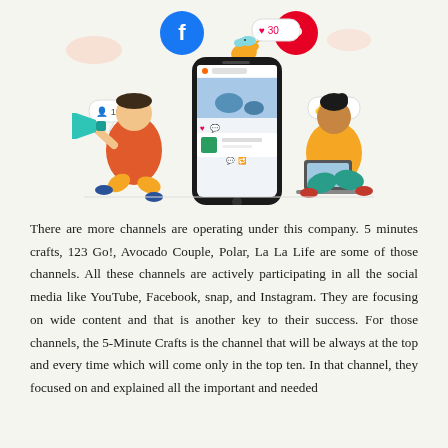[Figure (illustration): Illustration of two people using social media on a large smartphone. On the left, a person with a megaphone sits cross-legged. On the right, a person sits with a laptop. The phone in the center displays a social media feed. Social media icons (Facebook, Pinterest, Instagram, Twitter bird) and notification bubbles (30 likes, 100 followers, 50 likes) float around the phone.]
There are more channels are operating under this company. 5 minutes crafts, 123 Go!, Avocado Couple, Polar, La La Life are some of those channels. All these channels are actively participating in all the social media like YouTube, Facebook, snap, and Instagram. They are focusing on wide content and that is another key to their success. For those channels, the 5-Minute Crafts is the channel that will be always at the top and every time which will come only in the top ten. In that channel, they focused on and explained all the important and needed